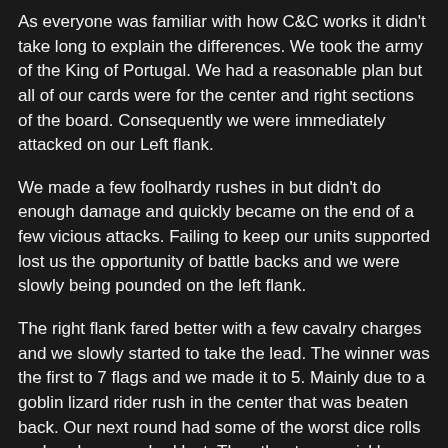As everyone was familiar with how C&C works it didn't take long to explain the differences. We took the army of the King of Portugal. We had a reasonable plan but all of our cards were for the center and right sections of the board. Consequently we were immediately attacked on our Left flank.
We made a few foolhardy rushes in but didn't do enough damage and quickly became on the end of a few vicious attacks. Failing to keep our units supported lost us the opportunity of battle backs and we were slowly being pounded on the left flank.
The right flank fared better with a few cavalry charges and we slowly started to take the lead. The winner was the first to 7 flags and we made it to 5. Mainly due to a goblin lizard rider rush in the center that was beaten back. Our next round had some of the worst dice rolls and we knew we had lost. The other team quickly attacked on all fronts and managed to defeat 3 units ending the game.